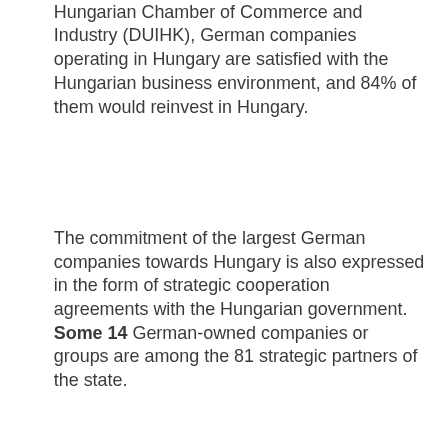Hungarian Chamber of Commerce and Industry (DUIHK), German companies operating in Hungary are satisfied with the Hungarian business environment, and 84% of them would reinvest in Hungary.
The commitment of the largest German companies towards Hungary is also expressed in the form of strategic cooperation agreements with the Hungarian government. Some 14 German-owned companies or groups are among the 81 strategic partners of the state.
The Hungarian automotive industry has a history of m... e... in... a... u...
[Figure (screenshot): Cookie consent overlay with dark navy background. Text reads: 'This website uses cookies to ensure you get the best experience on our website.' with a 'Learn more' link, and two buttons: 'Decline' (dark) and 'Allow cookies' (light grey).]
The automotive industry also relates d...